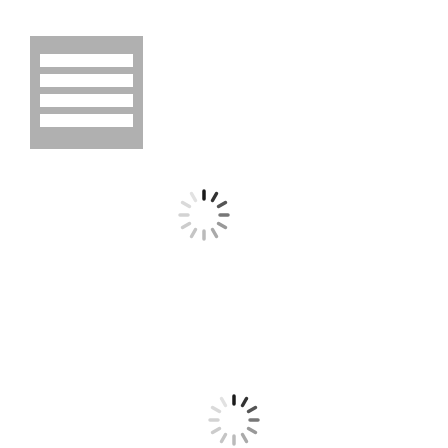[Figure (illustration): A gray square icon with horizontal white stripes resembling a text/menu icon, located in the upper left area of the page]
[Figure (illustration): A loading spinner icon made of short radial dashes arranged in a circle, with darker dashes at the top indicating rotation direction, located in the upper center area of the page]
[Figure (illustration): A loading spinner icon made of short radial dashes arranged in a circle, with darker dashes at the top indicating rotation direction, located in the lower center area of the page]